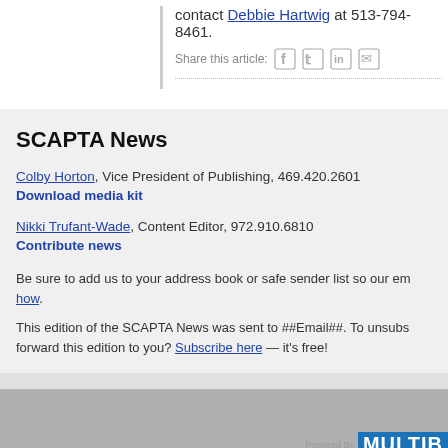contact Debbie Hartwig at 513-794-8461.
Share this article:
SCAPTA News
Colby Horton, Vice President of Publishing, 469.420.2601
Download media kit
Nikki Trufant-Wade, Content Editor, 972.910.6810
Contribute news
Be sure to add us to your address book or safe sender list so our em how.
This edition of the SCAPTA News was sent to ##Email##. To unsubs forward this edition to you? Subscribe here — it's free!
7701 Las Colinas Ridge, Ste. 800